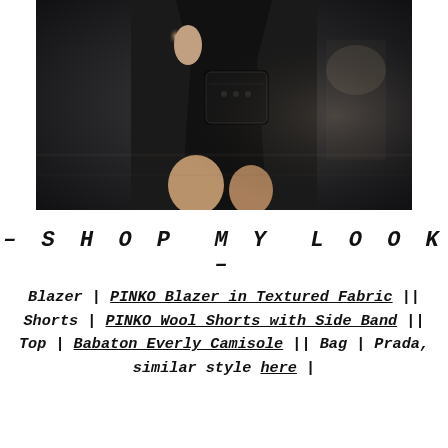[Figure (photo): Street fashion photo of a woman wearing a black blazer and black shorts, carrying a black leather bag, photographed from the torso down on a city street with blurred background.]
– S H O P  M Y  L O O K –
Blazer | PINKO Blazer in Textured Fabric || Shorts | PINKO Wool Shorts with Side Band || Top | Babaton Everly Camisole || Bag | Prada, similar style here |